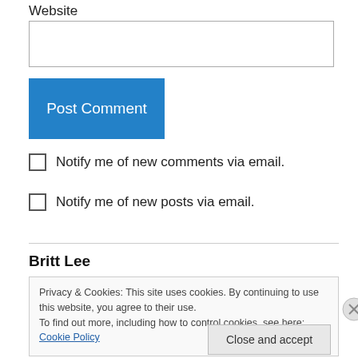Website
Post Comment
Notify me of new comments via email.
Notify me of new posts via email.
Britt Lee
Privacy & Cookies: This site uses cookies. By continuing to use this website, you agree to their use. To find out more, including how to control cookies, see here: Cookie Policy
Close and accept